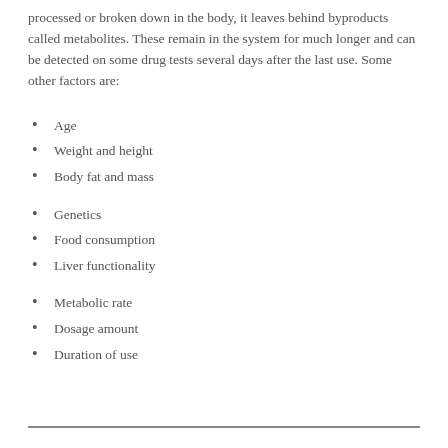processed or broken down in the body, it leaves behind byproducts called metabolites. These remain in the system for much longer and can be detected on some drug tests several days after the last use. Some other factors are:
Age
Weight and height
Body fat and mass
Genetics
Food consumption
Liver functionality
Metabolic rate
Dosage amount
Duration of use